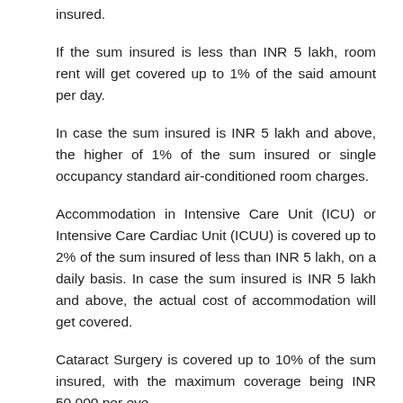insured.
If the sum insured is less than INR 5 lakh, room rent will get covered up to 1% of the said amount per day.
In case the sum insured is INR 5 lakh and above, the higher of 1% of the sum insured or single occupancy standard air-conditioned room charges.
Accommodation in Intensive Care Unit (ICU) or Intensive Care Cardiac Unit (ICUU) is covered up to 2% of the sum insured of less than INR 5 lakh, on a daily basis. In case the sum insured is INR 5 lakh and above, the actual cost of accommodation will get covered.
Cataract Surgery is covered up to 10% of the sum insured, with the maximum coverage being INR 50,000 per eye.